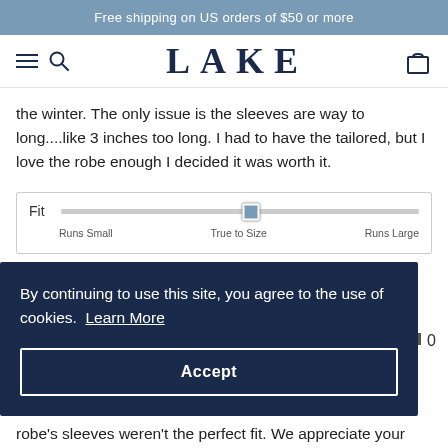Free shipping on US orders of $50 or more
[Figure (logo): LAKE brand logo with hamburger menu, search icon, and cart icon in navy navigation bar]
the winter. The only issue is the sleeves are way to long....like 3 inches too long. I had to have the tailored, but I love the robe enough I decided it was worth it.
[Figure (infographic): Fit slider showing position between Runs Small, True to Size, and Runs Large — slider positioned slightly past True to Size toward Runs Large]
By continuing to use this site, you agree to the use of cookies. Learn More
Accept
he robe's sleeves weren't the perfect fit. We appreciate your